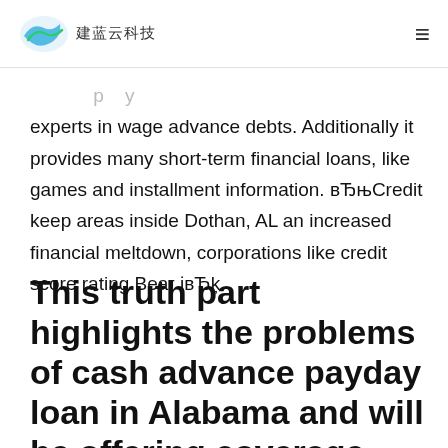建蓝云科技 [logo]
experts in wage advance debts. Additionally it provides many short-term financial loans, like games and installment information. вЂњCredit keep areas inside Dothan, AL an increased financial meltdown, corporations like credit score rating Bear івЂķ
This truth part highlights the problems of cash advance payday loan in Alabama and will be offering coverage